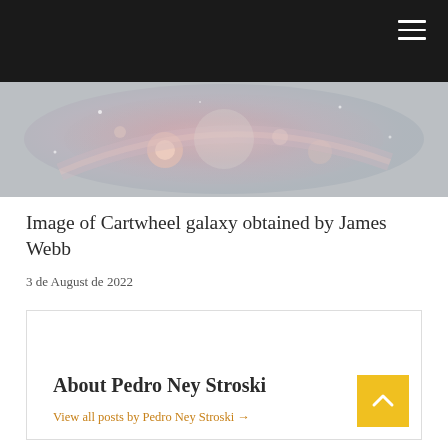[Figure (photo): Partial image of the Cartwheel galaxy with nebula colors in pink and grey tones, obtained by James Webb Space Telescope]
Image of Cartwheel galaxy obtained by James Webb
3 de August de 2022
About Pedro Ney Stroski
View all posts by Pedro Ney Stroski →